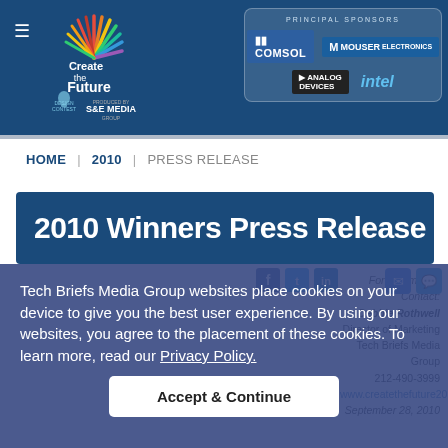Create the Future Design Contest — PRINCIPAL SPONSORS: COMSOL, MOUSER ELECTRONICS, ANALOG DEVICES, intel
HOME | 2010 | PRESS RELEASE
2010 Winners Press Release
Tech Briefs Media Group websites place cookies on your device to give you the best user experience. By using our websites, you agree to the placement of these cookies. To learn more, read our Privacy Policy.
Accept & Continue
For Information Contact:
Debbie Rothwell
Director of Marketing
Tech Briefs Media Group
212-490-3999
www.createthefuture2010.com
September 28, 2010